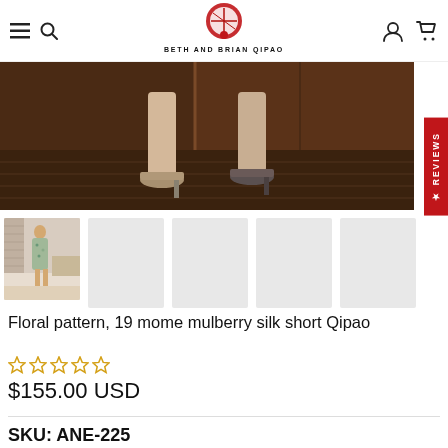BETH AND BRIAN QIPAO
[Figure (photo): Product photo showing lower body of a model wearing a qipao dress with beige high heels, standing on wooden floor with wooden panel backdrop]
[Figure (photo): Thumbnail row: one thumbnail showing a woman in a floral qipao dress, four grey placeholder thumbnails]
Floral pattern, 19 mome mulberry silk short Qipao
0.00 stars (star rating, 5 empty stars)
$155.00 USD
SKU: ANE-225